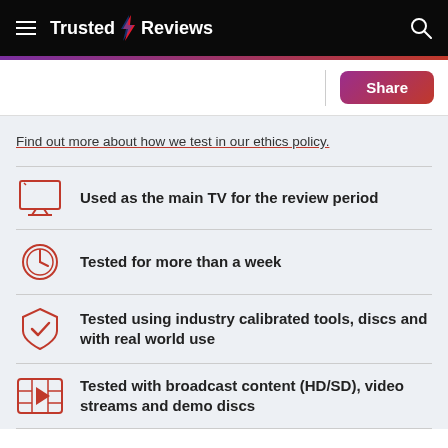Trusted Reviews
Find out more about how we test in our ethics policy.
Used as the main TV for the review period
Tested for more than a week
Tested using industry calibrated tools, discs and with real world use
Tested with broadcast content (HD/SD), video streams and demo discs